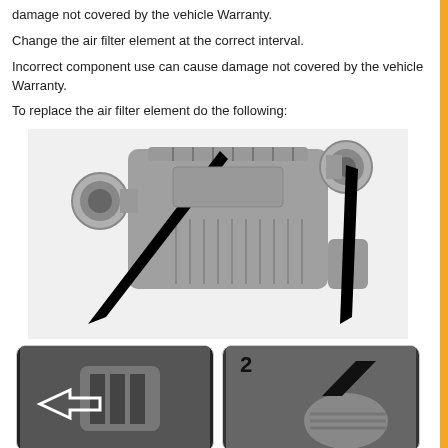damage not covered by the vehicle Warranty.
Change the air filter element at the correct interval.
Incorrect component use can cause damage not covered by the vehicle Warranty.
To replace the air filter element do the following:
[Figure (engineering-diagram): Diagram of a vehicle air filter assembly (air box) with two black pointer arrows indicating key connection points. Main body shown in gray.]
[Figure (engineering-diagram): Step 1 inset: close-up of air filter housing connection with a white hollow arrow pointing left indicating disconnection direction.]
[Figure (engineering-diagram): Step 2 inset: close-up of air filter hose connection with a black filled arrow indicating push/pull direction.]